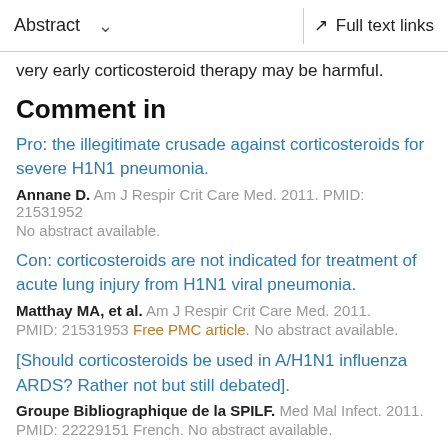Abstract  ∨   Full text links
very early corticosteroid therapy may be harmful.
Comment in
Pro: the illegitimate crusade against corticosteroids for severe H1N1 pneumonia.
Annane D. Am J Respir Crit Care Med. 2011. PMID: 21531952 No abstract available.
Con: corticosteroids are not indicated for treatment of acute lung injury from H1N1 viral pneumonia.
Matthay MA, et al. Am J Respir Crit Care Med. 2011. PMID: 21531953 Free PMC article. No abstract available.
[Should corticosteroids be used in A/H1N1 influenza ARDS? Rather not but still debated].
Groupe Bibliographique de la SPILF. Med Mal Infect. 2011. PMID: 22229151 French. No abstract available.